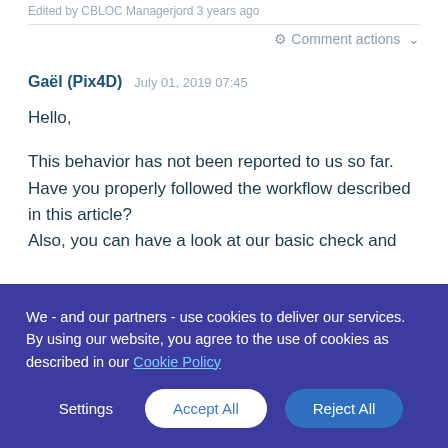Edited by CBLOC Managerjord 3 years ago
⚙ Comment actions ▾
Gaël (Pix4D)   July 01, 2019 07:45
Hello,
This behavior has not been reported to us so far. Have you properly followed the workflow described in this article?
Also, you can have a look at our basic check and
We - and our partners - use cookies to deliver our services. By using our website, you agree to the use of cookies as described in our Cookie Policy
Settings   Accept All   Reject All